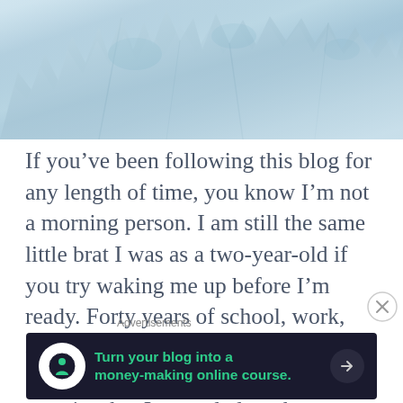[Figure (photo): Glacier ice formation with jagged blue-white ice spires and crevasses photographed close-up]
If you've been following this blog for any length of time, you know I'm not a morning person. I am still the same little brat I was as a two-year-old if you try waking me up before I'm ready. Forty years of school, work, and life has not changed me. So, it should come as no surprise that I struggled on the morning
Advertisements
[Figure (infographic): Advertisement banner: Turn your blog into a money-making online course. Dark background with green text and arrow button.]